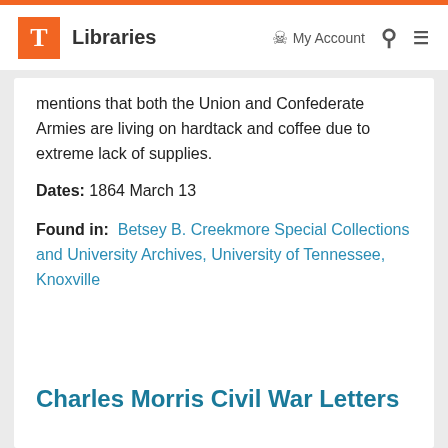T Libraries | My Account | Search | Menu
mentions that both the Union and Confederate Armies are living on hardtack and coffee due to extreme lack of supplies.
Dates: 1864 March 13
Found in: Betsey B. Creekmore Special Collections and University Archives, University of Tennessee, Knoxville
Charles Morris Civil War Letters